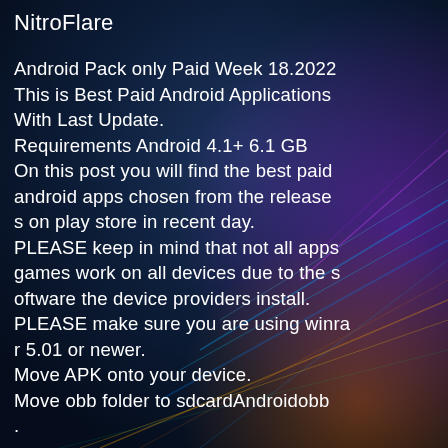NitroFlare
Android Pack only Paid Week 18.2022
This is Best Paid Android Applications With Last Update.
Requirements Android 4.1+ 6.1 GB
On this post you will find the best paid android apps chosen from the releases on play store in recent day.
PLEASE keep in mind that not all apps games work on all devices due to the software the device providers install.
PLEASE make sure you are using winrar 5.01 or newer.
Move APK onto your device.
Move obb folder to sdcardAndroidobb
.